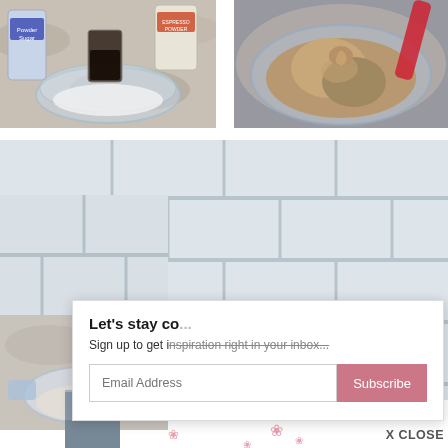[Figure (photo): Bowl with white powder/flour on a granite countertop, with sugar and espresso powder containers in background]
[Figure (photo): Close-up of a glass bowl with tan/brown batter being mixed with a red spatula]
[Figure (photo): White subway tile background with partial view of baking process and utensils]
[Figure (photo): Small partial thumbnail images at bottom left]
Let's stay co...
Sign up to get inspiration right in your inbox...
Email Address
Subscribe
X CLOSE